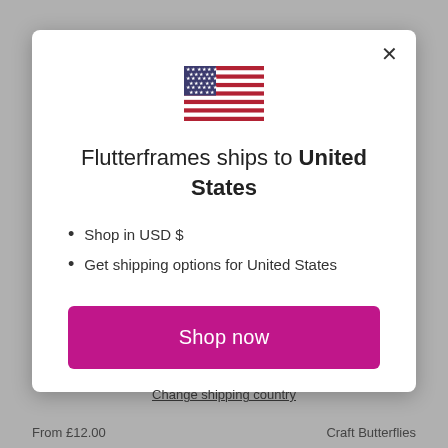[Figure (screenshot): Modal dialog popup on an e-commerce website (Flutterframes) showing shipping destination as United States with a US flag icon, bullet points about USD pricing and shipping options, a pink 'Shop now' button, and a 'Change shipping country' link. Background shows a greyed-out product page.]
Flutterframes ships to United States
Shop in USD $
Get shipping options for United States
Shop now
Change shipping country